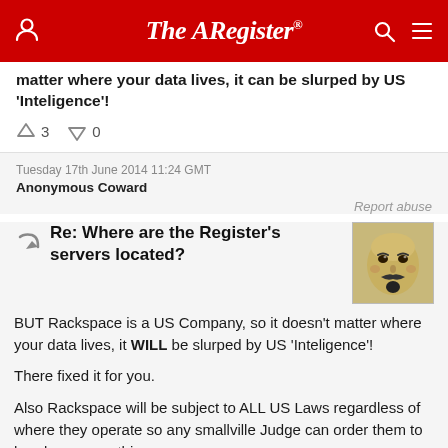The Register
matter where your data lives, it can be slurped by US 'Inteligence'!
↑3  ↓0
Tuesday 17th June 2014 11:24 GMT
Anonymous Coward
Report abuse
Re: Where are the Register's servers located?
BUT Rackspace is a US Company, so it doesn't matter where your data lives, it WILL be slurped by US 'Inteligence'!
There fixed it for you.
Also Rackspace will be subject to ALL US Laws regardless of where they operate so any smallville Judge can order them to handover everything you